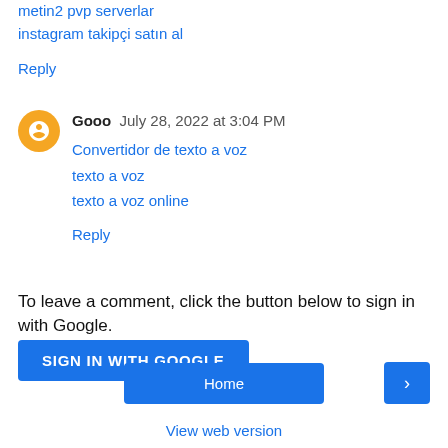metin2 pvp serverlar
instagram takipçi satın al
Reply
Gooo  July 28, 2022 at 3:04 PM
Convertidor de texto a voz
texto a voz
texto a voz online
Reply
To leave a comment, click the button below to sign in with Google.
SIGN IN WITH GOOGLE
Home
›
View web version